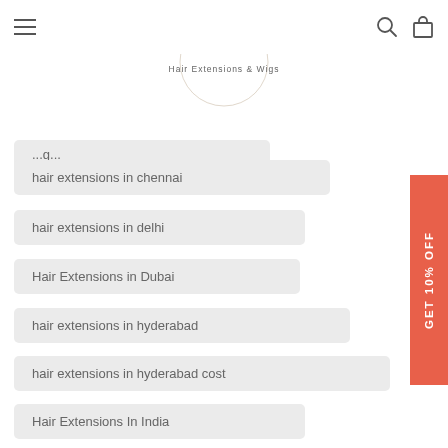Diva Divine Hair Extensions & Wigs - Navigation menu
[Figure (logo): Diva Divine Hair Extensions & Wigs logo with circular watermark and brand name]
hair extensions in chennai
hair extensions in delhi
Hair Extensions in Dubai
hair extensions in hyderabad
hair extensions in hyderabad cost
Hair Extensions In India
hair extensions in jaipur
hair extensions in kolkata